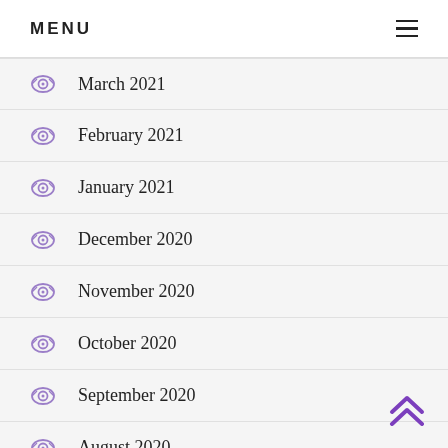MENU
March 2021
February 2021
January 2021
December 2020
November 2020
October 2020
September 2020
August 2020
July 2020